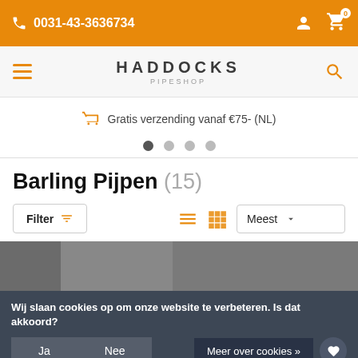0031-43-3636734
HADDOCKS PIPESHOP
Gratis verzending vanaf €75- (NL)
Barling Pijpen (15)
Filter
Meest
Wij slaan cookies op om onze website te verbeteren. Is dat akkoord?
Ja
Nee
Meer over cookies »